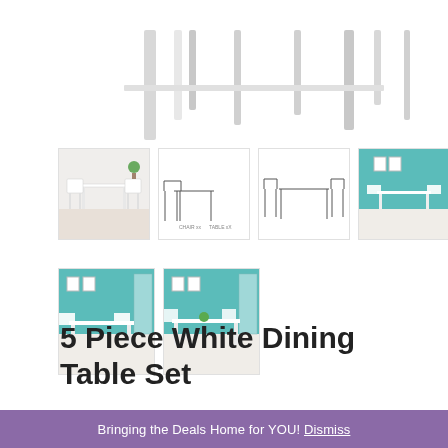[Figure (photo): Main large product image showing partial view of white dining table and chairs legs from above, cropped at top]
[Figure (photo): Thumbnail 1: White dining table set with 4 chairs in room setting with plant]
[Figure (photo): Thumbnail 2: Technical/line drawing of white dining table and chairs with dimensions]
[Figure (photo): Thumbnail 3: Technical/line drawing of white dining table and chairs, side view]
[Figure (photo): Thumbnail 4: White dining set in room with teal wall and decorative items]
[Figure (photo): Thumbnail 5: White dining set in room with teal wall, larger view]
[Figure (photo): Thumbnail 6: White dining set in room with teal wall, alternate angle]
5 Piece White Dining Table Set
$200.00
Bringing the Deals Home for YOU! Dismiss